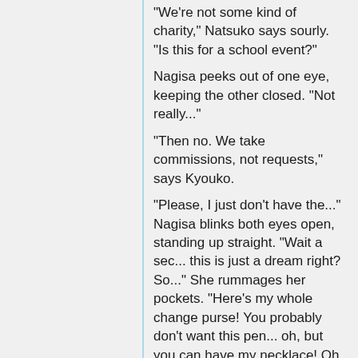"We're not some kind of charity," Natsuko says sourly. "Is this for a school event?"
Nagisa peeks out of one eye, keeping the other closed. "Not really..."
"Then no. We take commissions, not requests," says Kyouko.
"Please, I just don't have the..." Nagisa blinks both eyes open, standing up straight. "Wait a sec... this is just a dream right? So..." She rummages her pockets. "Here's my whole change purse! You probably don't want this pen... oh, but you can have my necklace! Oh oh, and..." Nagisa fishes a pink and white cell phone out of her pocket.
("cell phone")
Before the mystified cosplayers, Nagisa flicks the case. "Yoo hoo," she prompts